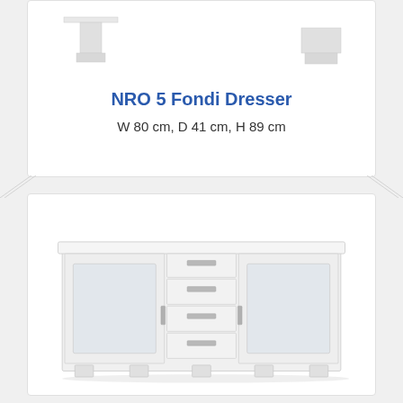[Figure (photo): Two small white dresser leg/foot detail images shown side by side at the top]
NRO 5 Fondi Dresser
W 80 cm, D 41 cm, H 89 cm
[Figure (photo): White sideboard/dresser with two glass-panel doors on left and right sides, and four central drawers with silver bar handles, standing on small white feet]